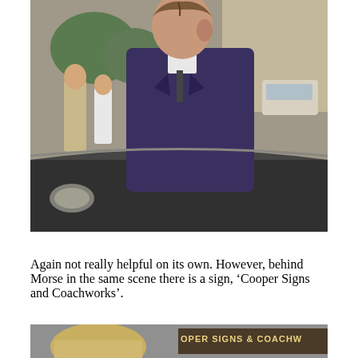[Figure (photo): A man in a dark suit viewed from behind a car dashboard, standing outdoors with other people and a vehicle visible in the blurred background.]
Again not really helpful on its own. However, behind Morse in the same scene there is a sign, ‘Cooper Signs and Coachworks’.
[Figure (photo): Partial view of a second photo showing a person with blonde hair and a sign reading 'COOPER SIGNS & COACHWORKS'.]